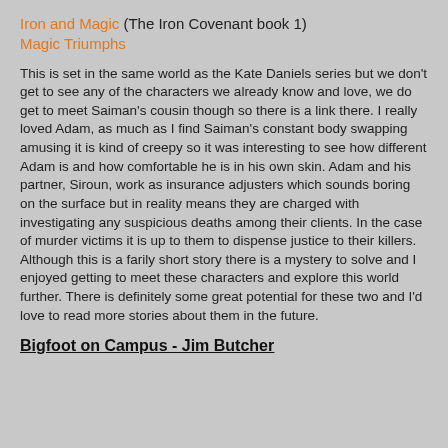Iron and Magic (The Iron Covenant book 1) Magic Triumphs
This is set in the same world as the Kate Daniels series but we don't get to see any of the characters we already know and love, we do get to meet Saiman's cousin though so there is a link there. I really loved Adam, as much as I find Saiman's constant body swapping amusing it is kind of creepy so it was interesting to see how different Adam is and how comfortable he is in his own skin. Adam and his partner, Siroun, work as insurance adjusters which sounds boring on the surface but in reality means they are charged with investigating any suspicious deaths among their clients. In the case of murder victims it is up to them to dispense justice to their killers. Although this is a farily short story there is a mystery to solve and I enjoyed getting to meet these characters and explore this world further. There is definitely some great potential for these two and I'd love to read more stories about them in the future.
Bigfoot on Campus - Jim Butcher